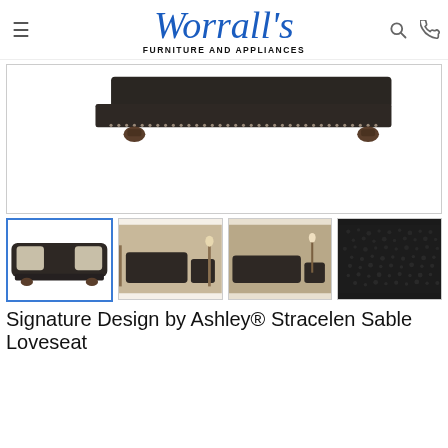[Figure (logo): Worrall's Furniture and Appliances logo with blue script text and bold subtitle, flanked by hamburger menu icon, search icon, and phone icon]
[Figure (photo): Top-down/rear view of a dark charcoal/brown upholstered sofa with nailhead trim detail and bun feet, on white background]
[Figure (photo): Thumbnail 1 (selected/active): Dark charcoal loveseat with two accent pillows, front view on white background]
[Figure (photo): Thumbnail 2: Full living room set with dark sofa, chairs, lamps and decor]
[Figure (photo): Thumbnail 3: Living room lifestyle shot with charcoal sofa set in room setting]
[Figure (photo): Thumbnail 4: Close-up texture/fabric swatch of dark charcoal fabric]
Signature Design by Ashley® Stracelen Sable Loveseat